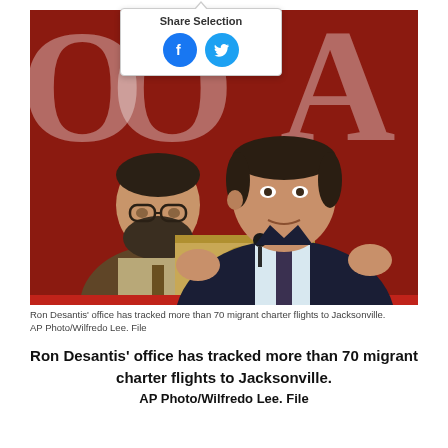[Figure (photo): Ron DeSantis speaking at a podium with the Florida state seal, gesturing with both hands, wearing a dark suit and tie. A man with glasses and beard stands behind him. Red background with large white letters visible.]
Ron Desantis' office has tracked more than 70 migrant charter flights to Jacksonville.
AP Photo/Wilfredo Lee. File
Ron Desantis' office has tracked more than 70 migrant charter flights to Jacksonville.
AP Photo/Wilfredo Lee. File